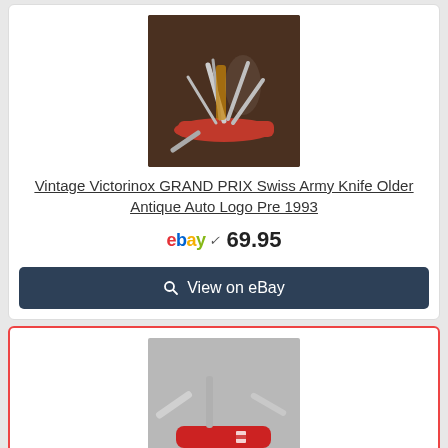[Figure (photo): Photo of a vintage Victorinox Grand Prix Swiss Army knife with red handle, multiple tools open, on a dark wooden surface.]
Vintage Victorinox GRAND PRIX Swiss Army Knife Older Antique Auto Logo Pre 1993
ebay 69.95
View on eBay
[Figure (photo): Photo of a red Victorinox Swiss Army knife with two tools/blades open, on a light grey background, showing the cross logo.]